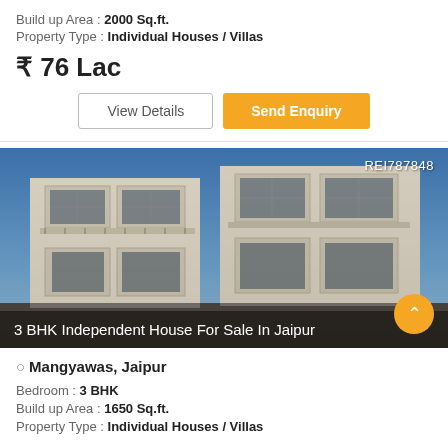Build up Area : 2000 Sq.ft.
Property Type : Individual Houses / Villas
₹ 76 Lac
View Details
Send Enquiry
[Figure (photo): Exterior photograph of a multi-storey modern independent house/villa with white facade, balconies, decorative grilles, and blue sky background. Badge reads REI787848. Caption: 3 BHK Independent House For Sale In Jaipur]
Mangyawas, Jaipur
Bedroom : 3 BHK
Build up Area : 1650 Sq.ft.
Property Type : Individual Houses / Villas